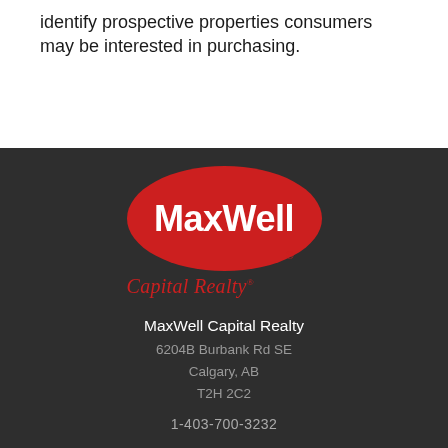identify prospective properties consumers may be interested in purchasing.
[Figure (logo): MaxWell Capital Realty logo — white text 'MaxWell' on a red oval, with 'Capital Realty' in red italic below]
MaxWell Capital Realty
6204B Burbank Rd SE
Calgary, AB
T2H 2C2

1-403-700-3232